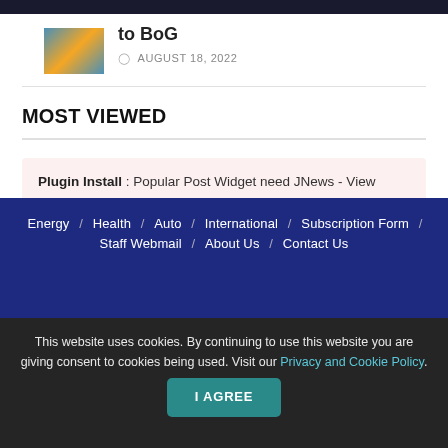[Figure (photo): Thumbnail image with blue and orange colors, likely fish or nature photo]
to BoG
AUGUST 18, 2022
MOST VIEWED
Plugin Install : Popular Post Widget need JNews - View Counter to be installed
Energy / Health / Auto / International / Subscription Form / Staff Webmail / About Us / Contact Us
This website uses cookies. By continuing to use this website you are giving consent to cookies being used. Visit our Privacy and Cookie Policy.